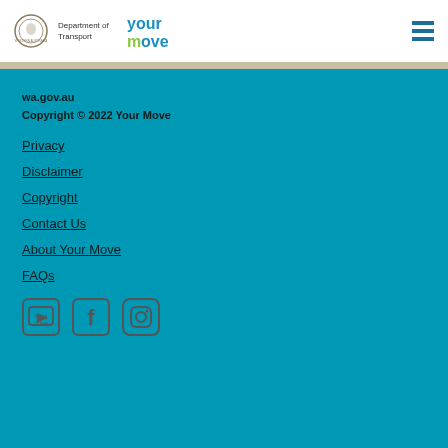Department of Transport | Your Move | [hamburger menu]
wa.gov.au
Copyright © 2022 Your Move
Privacy
Disclaimer
Copyright
Contact Us
About Your Move
FAQs
[Figure (other): Social media icons: YouTube, Facebook, Instagram]